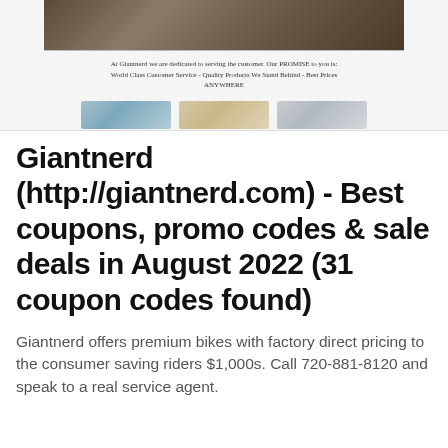[Figure (screenshot): Screenshot of Giantnerd website showing a dark mountain bike photo at top, a banner with promise text, and three thumbnail images below]
Giantnerd (http://giantnerd.com) - Best coupons, promo codes & sale deals in August 2022 (31 coupon codes found)
Giantnerd offers premium bikes with factory direct pricing to the consumer saving riders $1,000s. Call 720-881-8120 and speak to a real service agent.